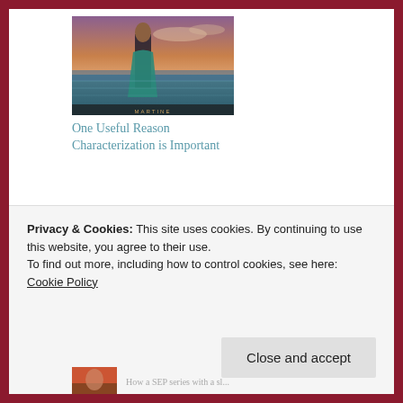[Figure (photo): Book cover image showing a woman in a teal dress near water at dusk, with partial text visible at bottom]
One Useful Reason Characterization is Important
January 28, 2016
In "Character"
POSTED IN WRITING TOOLBOX
ASPIRING WRITER
CHARACTER
CONFLICT
PLOT
PUBLISHING
SETTING
WRITING
Privacy & Cookies: This site uses cookies. By continuing to use this website, you agree to their use.
To find out more, including how to control cookies, see here: Cookie Policy
[Figure (photo): Small partial book cover thumbnail visible at bottom left]